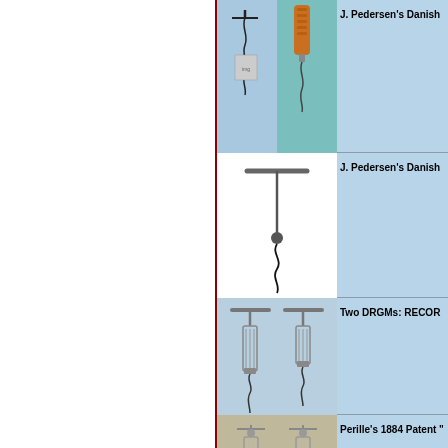[Figure (photo): Two corkscrews side by side on blue background - left one dark metal T-bar style, right one wooden handle orange/brown color]
J. Pedersen's Danish
[Figure (photo): Single T-bar corkscrew with long metal shaft and spiral worm, on white background]
Two DRGMs: RECOR
[Figure (photo): Two similar mechanical lever corkscrews with cylindrical cage mechanisms, metal T-bar handles]
Perille's 1884 Patent "
[Figure (photo): Two ornate cage corkscrews with decorative tops and cylindrical barrel mechanisms]
BACCHUS REFORM D